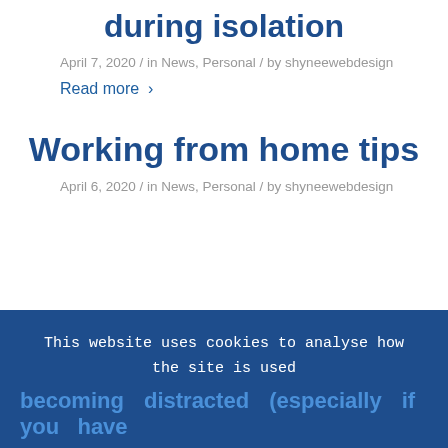during isolation
April 7, 2020 / in News, Personal / by shyneewebdesign
Read more >
Working from home tips
April 6, 2020 / in News, Personal / by shyneewebdesign
This website uses cookies to analyse how the site is used and to ensure your experience is consistent between visits.
OK    Learn More
becoming distracted (especially if you have